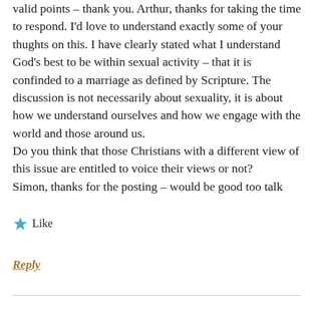valid points – thank you. Arthur, thanks for taking the time to respond. I'd love to understand exactly some of your thughts on this. I have clearly stated what I understand God's best to be within sexual activity – that it is confinded to a marriage as defined by Scripture. The discussion is not necessarily about sexuality, it is about how we understand ourselves and how we engage with the world and those around us. Do you think that those Christians with a different view of this issue are entitled to voice their views or not? Simon, thanks for the posting – would be good too talk
Like
Reply